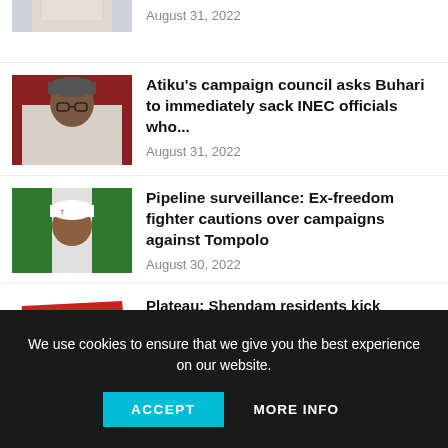[Figure (photo): Partial photo – top of page, person in white clothing]
August 31, 2022
[Figure (photo): Photo of a man in traditional cap and glasses, seated]
Atiku's campaign council asks Buhari to immediately sack INEC officials who...
August 31, 2022
[Figure (photo): Photo of a man wearing a white cap]
Pipeline surveillance: Ex-freedom fighter cautions over campaigns against Tompolo
August 30, 2022
[Figure (photo): Partial image – red map shape with text]
Plateau: Shendam residents kick against against adding 'Yelwa' to
We use cookies to ensure that we give you the best experience on our website.